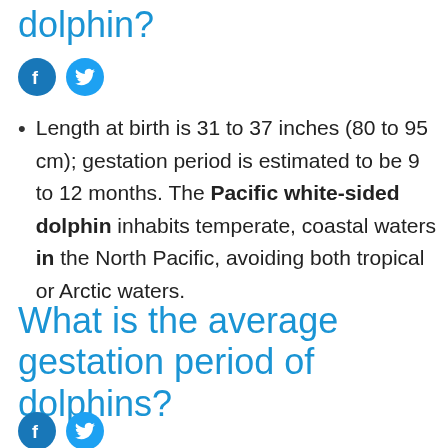dolphin?
[Figure (other): Social media sharing icons: Facebook (blue circle with f) and Twitter (blue circle with bird)]
Length at birth is 31 to 37 inches (80 to 95 cm); gestation period is estimated to be 9 to 12 months. The Pacific white-sided dolphin inhabits temperate, coastal waters in the North Pacific, avoiding both tropical or Arctic waters.
What is the average gestation period of dolphins?
[Figure (other): Social media sharing icons: Facebook (blue circle with f) and Twitter (blue circle with bird)]